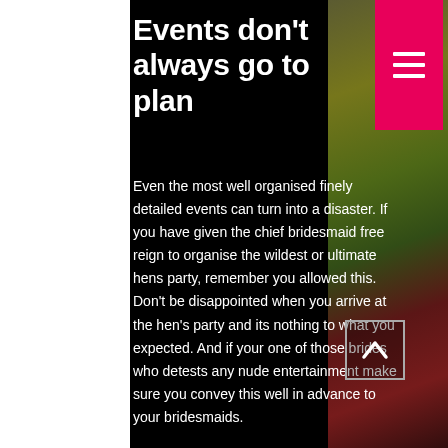Events don't always go to plan
Even the most well organised finely detailed events can turn into a disaster.  If you have given the chief bridesmaid free reign to organise the wildest or ultimate hens party, remember you allowed this. Don't be disappointed when you arrive at the hen's party and its nothing to what you expected. And if your one of those brides who detests any nude entertainment make sure you convey this well in advance to your bridesmaids.
I've seen many a semi naked man been turned away at the front door by the bride, because she simply didn't want a stripper or topless waiter at her hen's party.